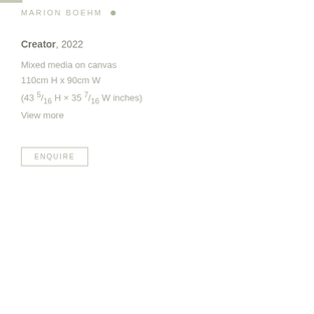MARION BOEHM •
Creator, 2022
Mixed media on canvas
110cm H x 90cm W
(43 5/16 H x 35 7/16 W inches)
View more
ENQUIRE